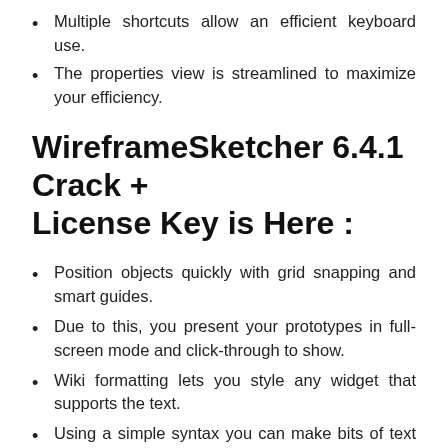Multiple shortcuts allow an efficient keyboard use.
The properties view is streamlined to maximize your efficiency.
WireframeSketcher 6.4.1 Crack + License Key is Here :
Position objects quickly with grid snapping and smart guides.
Due to this, you present your prototypes in full-screen mode and click-through to show.
Wiki formatting lets you style any widget that supports the text.
Using a simple syntax you can make bits of text bold, italic, underlined.
Furthermore, color images can be conveniently drawn in black and white to blend in.